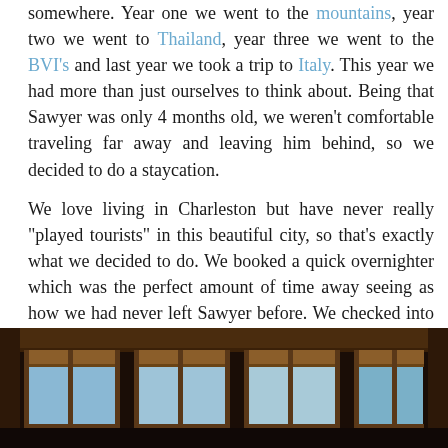somewhere. Year one we went to the mountains, year two we went to Thailand, year three we went to the BVI's and last year we took a trip to Italy. This year we had more than just ourselves to think about. Being that Sawyer was only 4 months old, we weren't comfortable traveling far away and leaving him behind, so we decided to do a staycation.
We love living in Charleston but have never really "played tourists" in this beautiful city, so that's exactly what we decided to do. We booked a quick overnighter which was the perfect amount of time away seeing as how we had never left Sawyer before. We checked into the The Vendue and were immediately greeted with a glass of champagne. I had never been inside before other than to take the elevator to the rooftop bar. Our room was so cozy and quaint with exposed brick walls, a gas fireplace, antique furnishings and complimentary sherry. Our room was in the building across the street from the main part of the hotel and had a view of the rooftop bar in the distance.
[Figure (photo): Interior photo showing windows with wooden blinds and dark wood framing, blue sky visible through the panes]